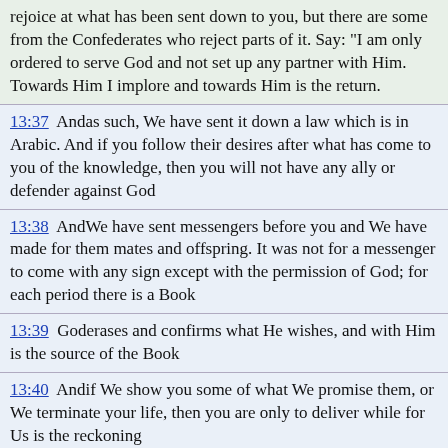rejoice at what has been sent down to you, but there are some from the Confederates who reject parts of it. Say: "I am only ordered to serve God and not set up any partner with Him. Towards Him I implore and towards Him is the return."
13:37  Andas such, We have sent it down a law which is in Arabic. And if you follow their desires after what has come to you of the knowledge, then you will not have any ally or defender against God
13:38  AndWe have sent messengers before you and We have made for them mates and offspring. It was not for a messenger to come with any sign except with the permission of God; for each period there is a Book
13:39  Goderases and confirms what He wishes, and with Him is the source of the Book
13:40  Andif We show you some of what We promise them, or We terminate your life, then you are only to deliver while for Us is the reckoning
13:41  Do they not see that We come to the land and reduce it from its ends? And God gives judgment and there is none to override His judgment. And He is swift to reckoning
13:42  Andthose before them had schemed, but to God is all scheming. He knows what every soul earns and the rejecters will